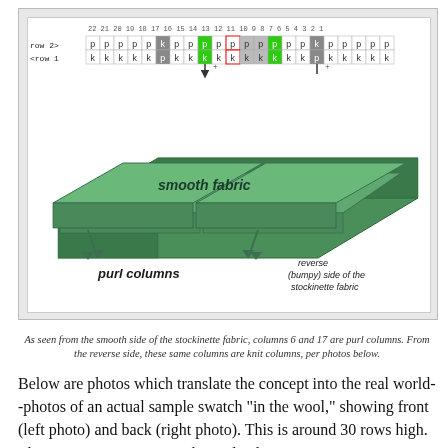[Figure (schematic): Knitting diagram showing a stitch chart with rows labeled 'row 2>' and '<row 1' containing k and p symbols in a grid, some highlighted in green and grey. Below the grid are 3D parallelogram shapes representing fabric panels labeled 'smooth fabric', with arrows pointing down to 'purl columns' and text 'reverse (bumpy) side of the stockinette fabric'.]
As seen from the smooth side of the stockinette fabric, columns 6 and 17 are purl columns.  From the reverse side, these same columns are knit columns, per photos below.
Below are photos which translate the concept into the real world--photos of an actual sample swatch "in the wool," showing front (left photo) and back (right photo).  This is around 30 rows high.  The green arrows point to the purl columns.  As you see, although purl columns are practically invisible from the front, they're quite prominent on the back, where they appear as knit columns on a reverse stockinette (and fabric) background.